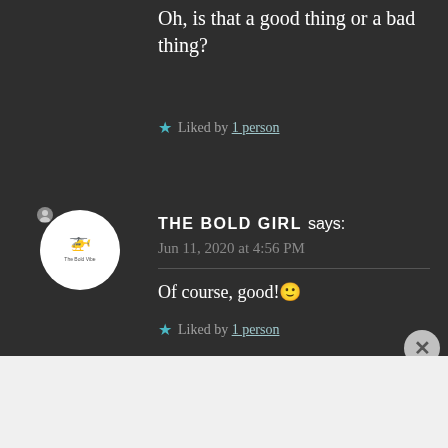Oh, is that a good thing or a bad thing?
★ Liked by 1 person
THE BOLD GIRL says: Jun 11, 2020 at 4:56 PM
Of course, good!🙂
★ Liked by 1 person
Advertisements
AUT⊙MATTIC
Build a better web and a better world.